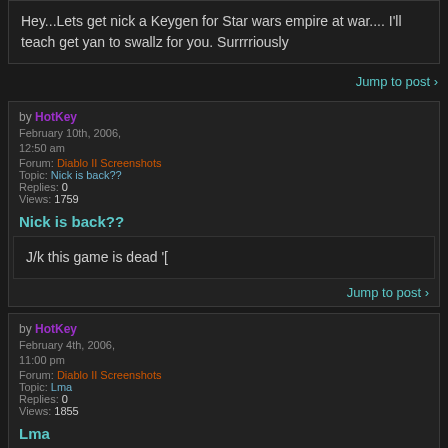Hey...Lets get nick a Keygen for Star wars empire at war.... I'll teach get yan to swallz for you. Surrrriously
Jump to post
by HotKey
February 10th, 2006, 12:50 am
Forum: Diablo II Screenshots
Topic: Nick is back??
Replies: 0
Views: 1759
Nick is back??
J/k this game is dead '[
Jump to post
by HotKey
February 4th, 2006, 11:00 pm
Forum: Diablo II Screenshots
Topic: Lma
Replies: 0
Views: 1855
Lma
These screens are lookin a little weak brock....maybe I should come